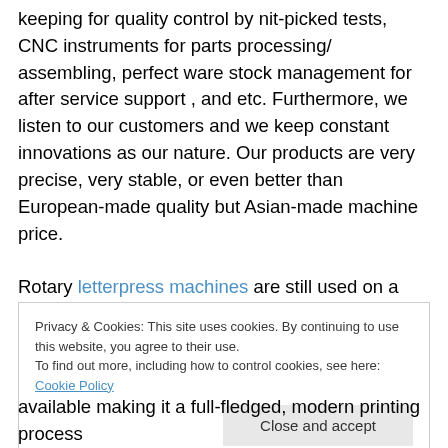keeping for quality control by nit-picked tests, CNC instruments for parts processing/ assembling, perfect ware stock management for after service support , and etc. Furthermore, we listen to our customers and we keep constant innovations as our nature. Our products are very precise, very stable, or even better than European-made quality but Asian-made machine price. Rotary letterpress machines are still used on a wide scale for printing self-adhesive and non-self-adhesive labels, tube laminate, cup stock, etc. The printing quality achieved
Privacy & Cookies: This site uses cookies. By continuing to use this website, you agree to their use. To find out more, including how to control cookies, see here: Cookie Policy
available making it a full-fledged, modern printing process